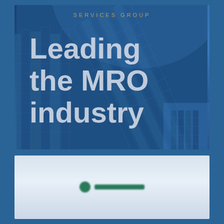[Figure (photo): Cover image with blue-tinted skyscraper building photograph. Text overlay reads 'SERVICES GROUP' in spaced gold/tan uppercase letters at the top, and large white text 'Leading the MRO industry' as the main headline.]
Leading the MRO industry
[Figure (logo): Blurred logo on a light blue-grey background, showing a green circle icon followed by green text (company name not legible due to blur).]